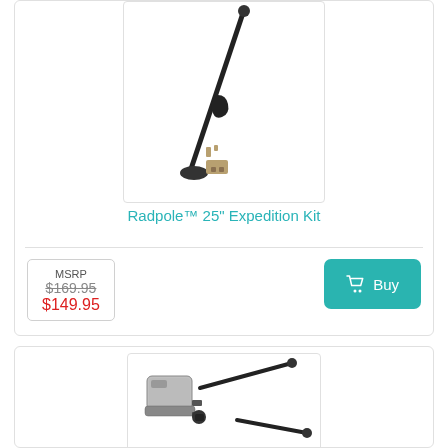[Figure (photo): Radpole 25 inch Expedition Kit product photo showing a long black pole with mounting hardware and accessories on white background]
Radpole™ 25" Expedition Kit
MSRP $169.95 $149.95
Buy
[Figure (photo): Second product photo showing a camera mounting kit with black rods and camera mount accessories]